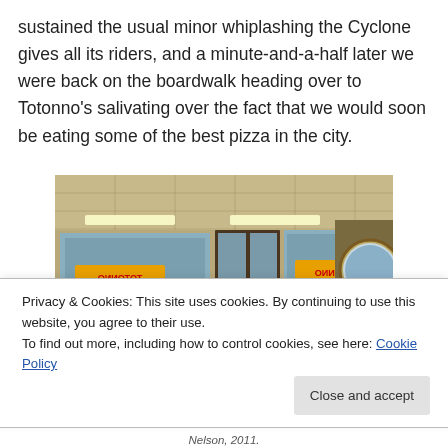sustained the usual minor whiplashing the Cyclone gives all its riders, and a minute-and-a-half later we were back on the boardwalk heading over to Totonno's salivating over the fact that we would soon be eating some of the best pizza in the city.
[Figure (photo): Interior photo of Totonno's pizzeria showing the dining area with windows reflecting signage, fluorescent lights on the ceiling, and a round mirror on the wall.]
Privacy & Cookies: This site uses cookies. By continuing to use this website, you agree to their use.
To find out more, including how to control cookies, see here: Cookie Policy
Close and accept
Nelson, 2011.